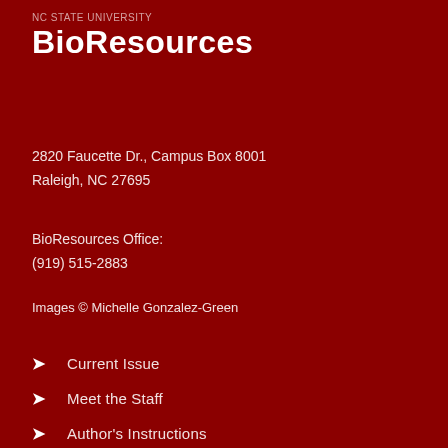BioResources
2820 Faucette Dr., Campus Box 8001
Raleigh, NC 27695
BioResources Office:
(919) 515-2883
Images © Michelle Gonzalez-Green
Current Issue
Meet the Staff
Author's Instructions
Policy Disclaimer
Privacy Statement